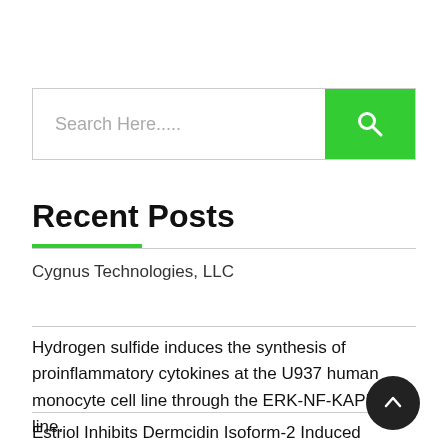[Figure (other): Search bar with text placeholder 'Search Here.....' and a green search button with magnifying glass icon]
Recent Posts
Cygnus Technologies, LLC
Hydrogen sulfide induces the synthesis of proinflammatory cytokines at the U937 human monocyte cell line through the ERK-NF-KAPPAB line.
Estriol Inhibits Dermcidin Isoform-2 Induced Inflammatory Cytokine Expression Via Nitric Oxide